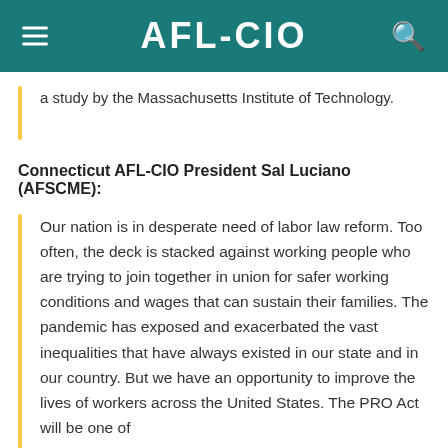AFL-CIO
a study by the Massachusetts Institute of Technology.
Connecticut AFL-CIO President Sal Luciano (AFSCME):
Our nation is in desperate need of labor law reform. Too often, the deck is stacked against working people who are trying to join together in union for safer working conditions and wages that can sustain their families. The pandemic has exposed and exacerbated the vast inequalities that have always existed in our state and in our country. But we have an opportunity to improve the lives of workers across the United States. The PRO Act will be one of